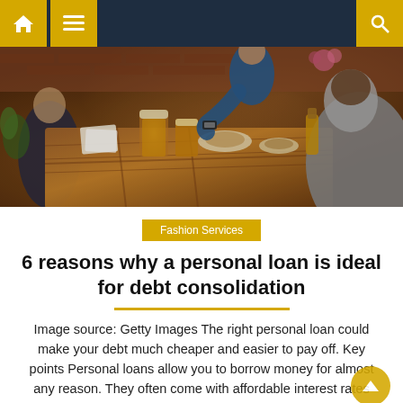Navigation bar with home, menu, and search icons
[Figure (photo): People sitting around a wooden table outdoors, sharing food and drinks. A man in a blue shirt reaches across the table, another person with a grey sweater is visible from behind. Beer glasses and food items on a rustic wooden table with brick wall in background.]
Fashion Services
6 reasons why a personal loan is ideal for debt consolidation
Image source: Getty Images The right personal loan could make your debt much cheaper and easier to pay off. Key points Personal loans allow you to borrow money for almost any reason. They often come with affordable interest rates